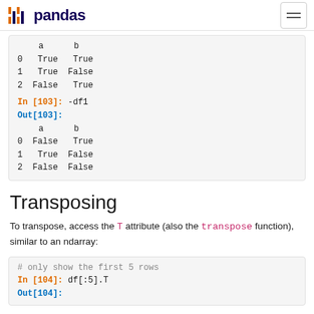pandas
a      b
0   True   True
1   True  False
2  False   True

In [103]: -df1
Out[103]:
       a      b
0  False   True
1   True  False
2  False  False
Transposing
To transpose, access the T attribute (also the transpose function), similar to an ndarray:
# only show the first 5 rows
In [104]: df[:5].T
Out[104]: